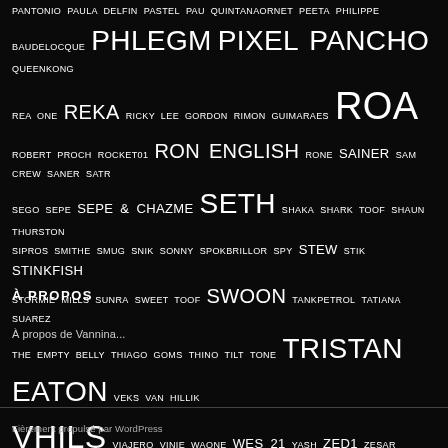PANTONIO PAULA DELFIN PASTEL PAU QUINTANAORNET PEETA PHILIPPE BAUDELOCQUE PHLEGM PIXEL PANCHO QUEENKONG REA ONE REKA RICKY LEE GORDON RIMON GUIMARAES ROA ROBERT PROCH ROCKET01 RON ENGLISH RONE SAINER SAM CREW SANER SATR SEGO SEPE SEPE & CHAZME SETH SHAKA SHARK TOOF SHAUN THURSTON SIPROS SMITHE SMUG SNIK SONNY SPOKBRILLOR SPY STEW STIK STINKFISH STORMIE MILLS SUNRA SWEET TOOF SWOON TANKPETROL TATIANA SUAREZ THE EMPTY BELLY THIAGO GOMS THINO TILT TONE TRISTAN EATON VEKS VAN HILLIK VHILS VIAJERO VINIE WAONE WES 21 YASH ZED1 ZESAR BAHAMONTE ZIO ZIEGLER
À PROPOS
À propos de Vannina...
Fièrement propulsé par WordPress